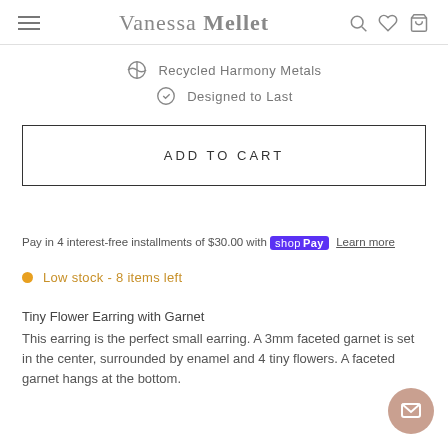Vanessa Mellet
Recycled Harmony Metals
Designed to Last
ADD TO CART
Pay in 4 interest-free installments of $30.00 with Shop Pay Learn more
Low stock - 8 items left
Tiny Flower Earring with Garnet
This earring is the perfect small earring. A 3mm faceted garnet is set in the center, surrounded by enamel and 4 tiny flowers. A faceted garnet hangs at the bottom.